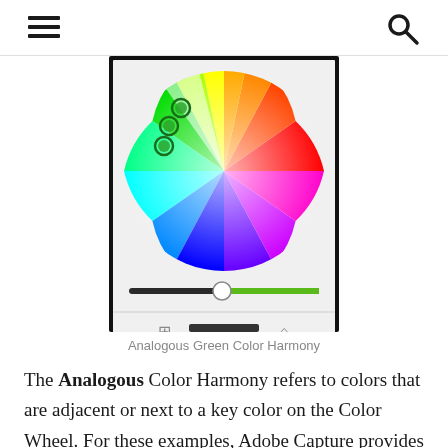[Figure (screenshot): A color wheel picker screenshot showing a circular spectrum (green top-left, red top-right, blue bottom-center, magenta right, cyan left). Three green circle markers are positioned in the green area of the wheel. Below the wheel is a horizontal slider bar colored dark-green to light-green with a circular handle near the center-right. At the bottom of the frame are four small toolbar icons in gray and blue.]
Analogous Green Color Harmony
The Analogous Color Harmony refers to colors that are adjacent or next to a key color on the Color Wheel. For these examples, Adobe Capture provides five